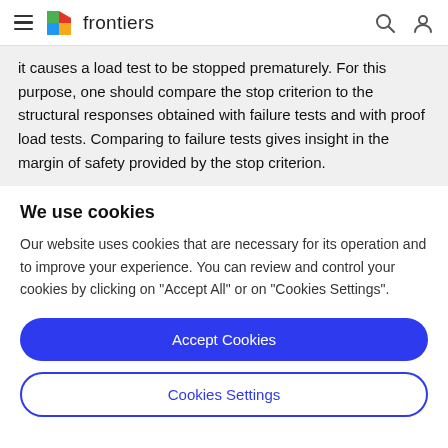frontiers
it causes a load test to be stopped prematurely. For this purpose, one should compare the stop criterion to the structural responses obtained with failure tests and with proof load tests. Comparing to failure tests gives insight in the margin of safety provided by the stop criterion.
We use cookies
Our website uses cookies that are necessary for its operation and to improve your experience. You can review and control your cookies by clicking on "Accept All" or on "Cookies Settings".
Accept Cookies
Cookies Settings